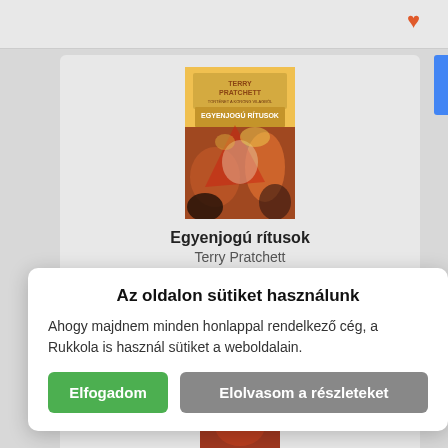[Figure (screenshot): Book cover: Terry Pratchett - Egyenjogú rítusok, fantasy illustration with orange/red tones]
Egyenjogú rítusok
Terry Pratchett
Az oldalon sütiket használunk
Ahogy majdnem minden honlappal rendelkező cég, a Rukkola is használ sütiket a weboldalain.
Elfogadom
Elolvasom a részleteket
46